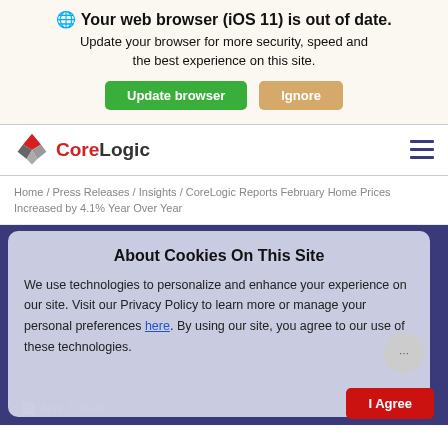Your web browser (iOS 11) is out of date. Update your browser for more security, speed and the best experience on this site.
Update browser | Ignore
[Figure (logo): CoreLogic logo with geometric gem/diamond shape in red and gray]
Home / Press Releases / Insights / CoreLogic Reports February Home Prices Increased by 4.1% Year Over Year
PRESS RELEASE
About Cookies On This Site
We use technologies to personalize and enhance your experience on our site. Visit our Privacy Policy to learn more or manage your personal preferences here. By using our site, you agree to our use of these technologies.
April 7, 2020
I Agree